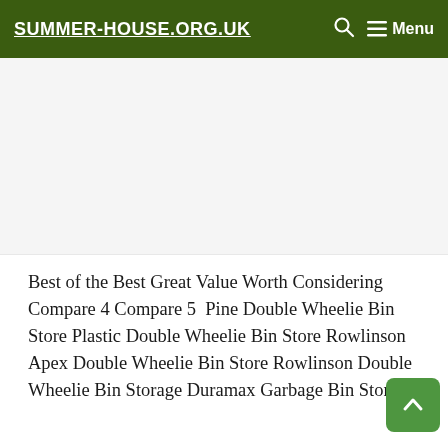SUMMER-HOUSE.ORG.UK  🔍  ☰ Menu
[Figure (other): Advertisement / blank ad placeholder area]
Best of the Best Great Value Worth Considering Compare 4 Compare 5  Pine Double Wheelie Bin Store Plastic Double Wheelie Bin Store Rowlinson Apex Double Wheelie Bin Store Rowlinson Double Wheelie Bin Storage Duramax Garbage Bin Store